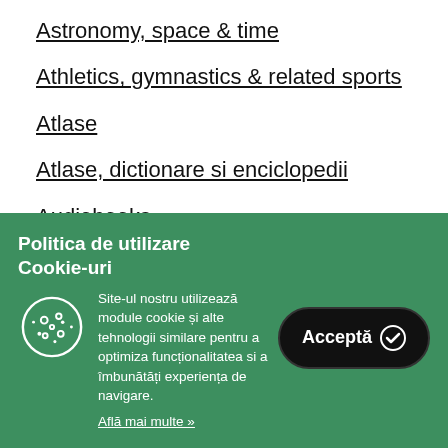Astronomy, space & time
Athletics, gymnastics & related sports
Atlase
Atlase, dictionare si enciclopedii
Audiobooks
Auxiliare scolare
Back to school
Politica de utilizare Cookie-uri
Site-ul nostru utilizează module cookie și alte tehnologii similare pentru a optimiza funcționalitatea si a îmbunătăți experiența de navigare.
Află mai multe »